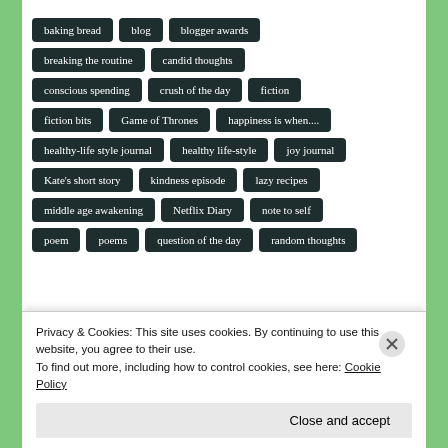baking bread
blog
blogger awards
breaking the routine
candid thoughts
conscious spending
crush of the day
fiction
fiction bits
Game of Thrones
happiness is when....
healthy-life style journal
healthy life-style
joy journal
Kate's short story
kindness episode
lazy recipes
middle age awakening
Netflix Diary
note to self
poem
poems
question of the day
random thoughts
Privacy & Cookies: This site uses cookies. By continuing to use this website, you agree to their use.
To find out more, including how to control cookies, see here: Cookie Policy
Close and accept